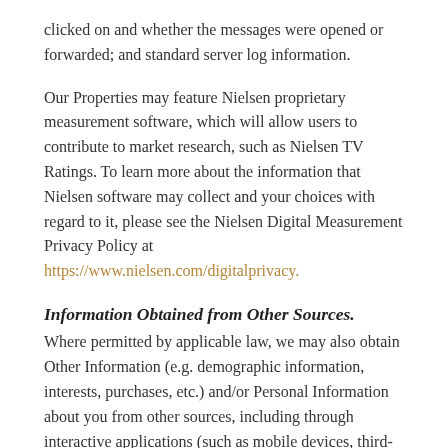clicked on and whether the messages were opened or forwarded; and standard server log information.
Our Properties may feature Nielsen proprietary measurement software, which will allow users to contribute to market research, such as Nielsen TV Ratings. To learn more about the information that Nielsen software may collect and your choices with regard to it, please see the Nielsen Digital Measurement Privacy Policy at https://www.nielsen.com/digitalprivacy.
Information Obtained from Other Sources.
Where permitted by applicable law, we may also obtain Other Information (e.g. demographic information, interests, purchases, etc.) and/or Personal Information about you from other sources, including through interactive applications (such as mobile devices, third-party services, and embedded video